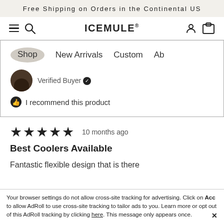Free Shipping on Orders in the Continental US
[Figure (screenshot): IceMule website navigation bar with hamburger menu, search icon, ICEMULE brand name, user icon and cart icon]
[Figure (screenshot): Dropdown navigation menu showing Shop, New Arrivals, Custom, Ab options with a Verified Buyer badge and 'I recommend this product' thumbs up]
[Figure (screenshot): Five star rating with '10 months ago' timestamp, review title 'Best Coolers Available', and review body text beginning 'Fantastic flexible design that is there when you need it and compactly packed away when you don't. Perfect for packing extra ice for extended']
READ MORE
Your browser settings do not allow cross-site tracking for advertising. Click on [allow] to allow AdRoll to use cross-site tracking to tailor ads to you. Learn more or opt out of this AdRoll tracking by clicking here. This message only appears once.